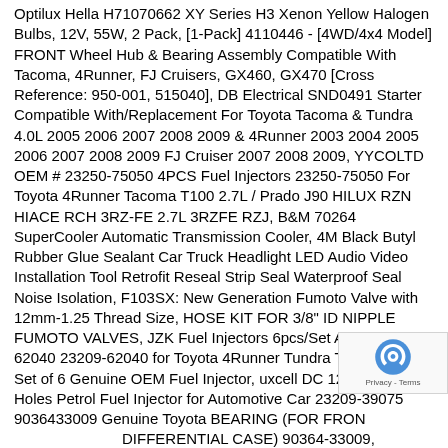Optilux Hella H71070662 XY Series H3 Xenon Yellow Halogen Bulbs, 12V, 55W, 2 Pack, [1-Pack] 4110446 - [4WD/4x4 Model] FRONT Wheel Hub & Bearing Assembly Compatible With Tacoma, 4Runner, FJ Cruisers, GX460, GX470 [Cross Reference: 950-001, 515040], DB Electrical SND0491 Starter Compatible With/Replacement For Toyota Tacoma & Tundra 4.0L 2005 2006 2007 2008 2009 & 4Runner 2003 2004 2005 2006 2007 2008 2009 FJ Cruiser 2007 2008 2009, YYCOLTD OEM # 23250-75050 4PCS Fuel Injectors 23250-75050 For Toyota 4Runner Tacoma T100 2.7L / Prado J90 HILUX RZN HIACE RCH 3RZ-FE 2.7L 3RZFE RZJ, B&M 70264 SuperCooler Automatic Transmission Cooler, 4M Black Butyl Rubber Glue Sealant Car Truck Headlight LED Audio Video Installation Tool Retrofit Reseal Strip Seal Waterproof Seal Noise Isolation, F103SX: New Generation Fumoto Valve with 12mm-1.25 Thread Size, HOSE KIT FOR 3/8" ID NIPPLE FUMOTO VALVES, JZK Fuel Injectors 6pcs/Set AISIN 23250-62040 23209-62040 for Toyota 4Runner Tundra Tacoma 3.4L Set of 6 Genuine OEM Fuel Injector, uxcell DC 12V 2 Pin 12 Holes Petrol Fuel Injector for Automotive Car 23209-39075 9036433009 Genuine Toyota BEARING (FOR FRONT DIFFERENTIAL CASE) 90364-33009, Genuine Toyota Brake Master Cylinder To Booster Gasket 47275-120 Green LED Interior Lights Package For 1997 - 2002 Toyota